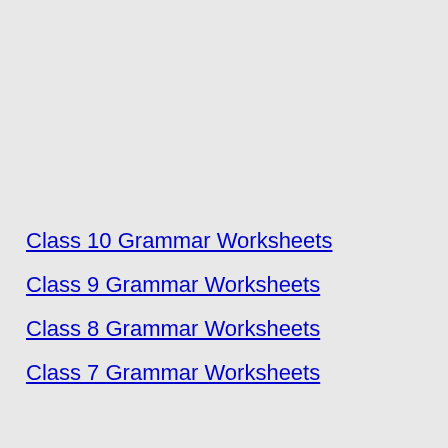Class 10 Grammar Worksheets
Class 9 Grammar Worksheets
Class 8 Grammar Worksheets
Class 7 Grammar Worksheets